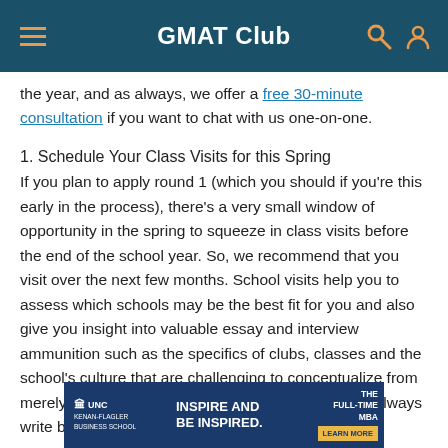GMAT Club
the year, and as always, we offer a free 30-minute consultation if you want to chat with us one-on-one.
1. Schedule Your Class Visits for this Spring
If you plan to apply round 1 (which you should if you're this early in the process), there's a very small window of opportunity in the spring to squeeze in class visits before the end of the school year. So, we recommend that you visit over the next few months. School visits help you to assess which schools may be the best fit for you and also give you insight into valuable essay and interview ammunition such as the specifics of clubs, classes and the school's culture that are challenging to conceptualize from merely reading the website. Those who visit almost always write better
[Figure (infographic): UNC Kenan-Flagler Business School advertisement banner: INSPIRE AND BE INSPIRED. THE FULL-TIME MBA. LEARN MORE button.]